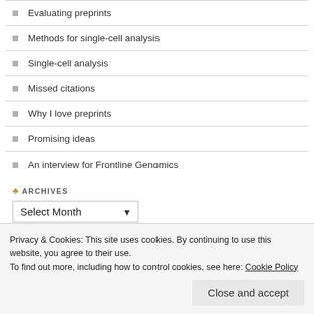Evaluating preprints
Methods for single-cell analysis
Single-cell analysis
Missed citations
Why I love preprints
Promising ideas
An interview for Frontline Genomics
ARCHIVES
RSS - Posts
Privacy & Cookies: This site uses cookies. By continuing to use this website, you agree to their use.
To find out more, including how to control cookies, see here: Cookie Policy
Close and accept